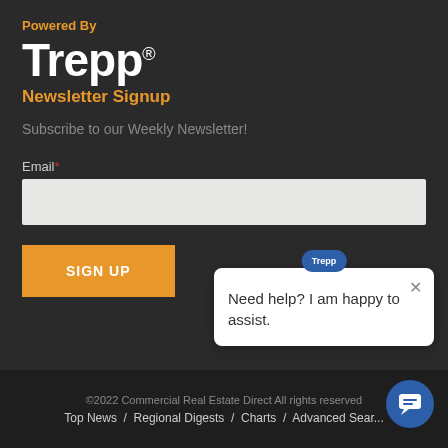Powered By
Trepp®
Newsletter Signup
Subscribe to our Weekly Newsletter!
Email*
[Figure (screenshot): Email input text field (empty, light gray background)]
[Figure (screenshot): Orange SIGN UP button]
[Figure (screenshot): Trepp chat popup overlay with close button and text: Need help? I am happy to assist.]
©2022 Commercial Real Estate Direct All rights reserved
Top News / Regional Digests / Charts / Advanced Search...